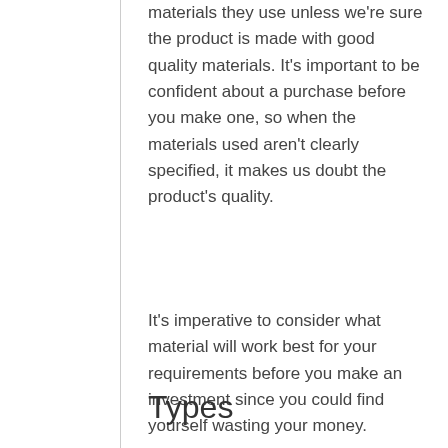materials they use unless we're sure the product is made with good quality materials. It's important to be confident about a purchase before you make one, so when the materials used aren't clearly specified, it makes us doubt the product's quality.
It's imperative to consider what material will work best for your requirements before you make an investment since you could find yourself wasting your money.
Types